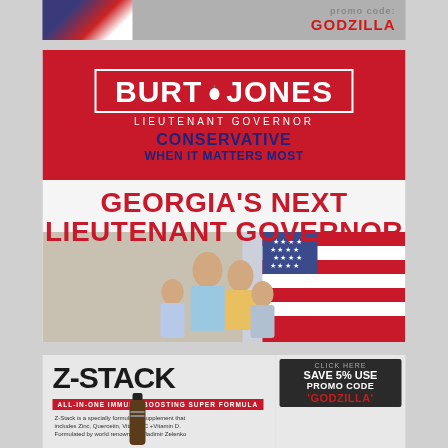[Figure (advertisement): Partial top ad showing American flag on left and text 'promo code: GODZILLA' in red on gray background]
[Figure (advertisement): Burt Jones Lieutenant Governor campaign ad. Red top section with white-bordered box reading 'BURT JONES LIEUTENANT GOVERNOR' with Georgia peach icon, text 'CONSERVATIVE WHEN IT MATTERS MOST' in navy blue. White/light bottom section with red text 'GEORGIA'S NEXT LIEUTENANT GOVERNOR' and photo of Burt Jones with family and American flag]
[Figure (advertisement): Z-Stack supplement ad. Large black 'Z-STACK' text, red banner 'ALL-IN-ONE IMMUNE BOOSTING SUPER FORMULA', dark promo box 'CLICK HERE SAVE 5% USE PROMO CODE GODZILLA', small bottle image, description text about the supplement formulated by Dr Vladimir Zelenko]